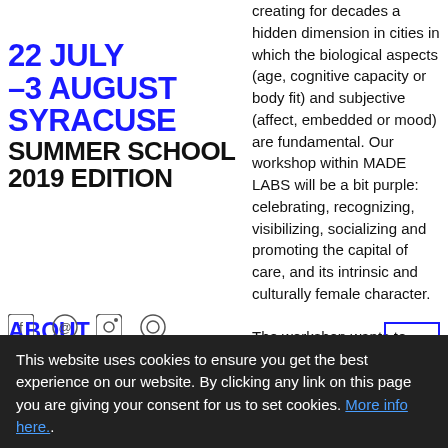22 JULY –3 AUGUST SYRACUSE SUMMER SCHOOL 2019 EDITION
ABOUT
PROGRAM
GUESTS
NEWS
GALLERY
PARTNERS
creating for decades a hidden dimension in cities in which the biological aspects (age, cognitive capacity or body fit) and subjective (affect, embedded or mood) are fundamental. Our workshop within MADE LABS will be a bit purple: celebrating, recognizing, visibilizing, socializing and promoting the capital of care, and its intrinsic and culturally female character. The workshop wants to contribute to build a living and a great tangle of activities: rest, satisfaction, health protection, procurement of food and
This website uses cookies to ensure you get the best experience on our website. By clicking any link on this page you are giving your consent for us to set cookies. More info here..